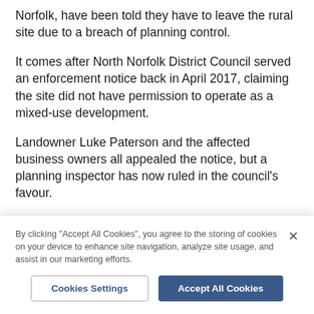Norfolk, have been told they have to leave the rural site due to a breach of planning control.
It comes after North Norfolk District Council served an enforcement notice back in April 2017, claiming the site did not have permission to operate as a mixed-use development.
Landowner Luke Paterson and the affected business owners all appealed the notice, but a planning inspector has now ruled in the council's favour.
By clicking "Accept All Cookies", you agree to the storing of cookies on your device to enhance site navigation, analyze site usage, and assist in our marketing efforts.
Cookies Settings
Accept All Cookies